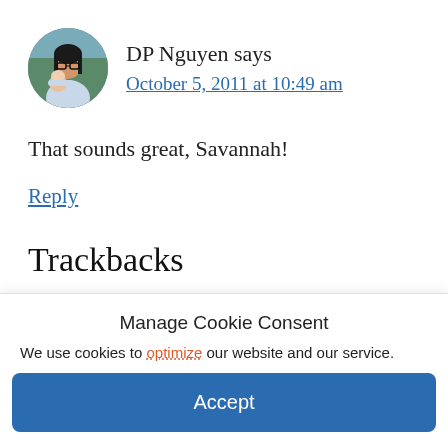[Figure (photo): Circular avatar photo of a woman wearing glasses holding a baby, outdoors background]
DP Nguyen says
October 5, 2011 at 10:49 am
That sounds great, Savannah!
Reply
Trackbacks
Manage Cookie Consent
We use cookies to optimize our website and our service.
Accept